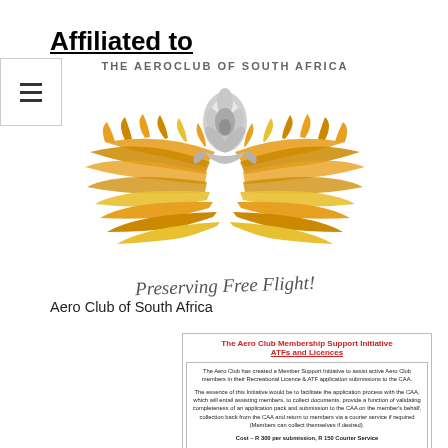Affiliated to
[Figure (logo): Aero Club of South Africa logo with golden wings, silver protea flower, and cursive text 'Preserving Free Flight!']
Aero Club of South Africa
[Figure (screenshot): Flyer titled 'The Aero Club Membership Support Initiative ATFs and Licences' describing member support for Recreational Licence & ATF application submissions to CAA. Cost: R 300 per submission, R 150 Courier Service.]